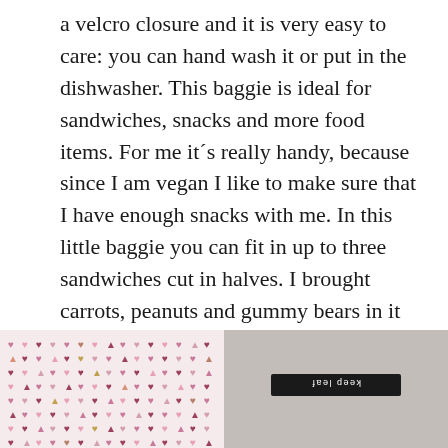a velcro closure and it is very easy to care: you can hand wash it or put in the dishwasher. This baggie is ideal for sandwiches, snacks and more food items. For me it´s really handy, because since I am vegan I like to make sure that I have enough snacks with me. In this little baggie you can fit in up to three sandwiches cut in halves. I brought carrots, peanuts and gummy bears in it as well. The bag does his job perfectly and it doesn't take much space in your bag.
[Figure (photo): Two side-by-side photos: left shows a fabric bag/pouch with colorful heart pattern in pink, purple, and gold on white background; right shows the back of a dark fabric item with a label reading 'keep leaf' printed upside down.]